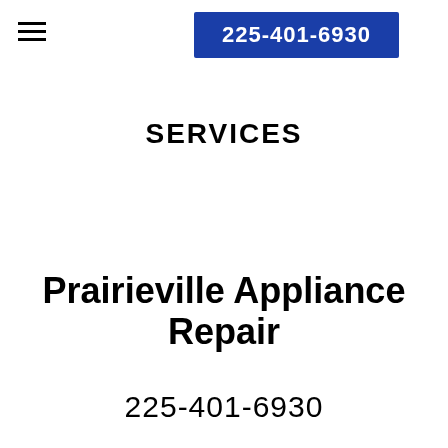[Figure (other): Hamburger menu icon (three horizontal lines) in top left corner]
225-401-6930
SERVICES
Prairieville Appliance Repair
225-401-6930